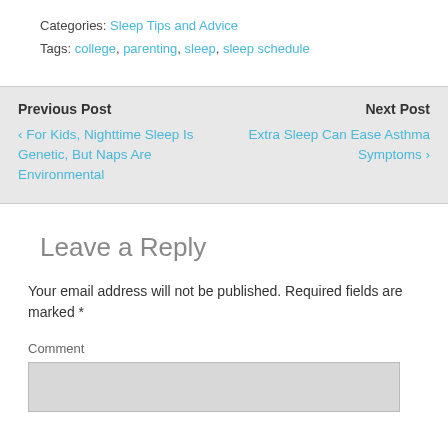Categories: Sleep Tips and Advice
Tags: college, parenting, sleep, sleep schedule
Previous Post
Next Post
< For Kids, Nighttime Sleep Is Genetic, But Naps Are Environmental
Extra Sleep Can Ease Asthma Symptoms >
Leave a Reply
Your email address will not be published. Required fields are marked *
Comment